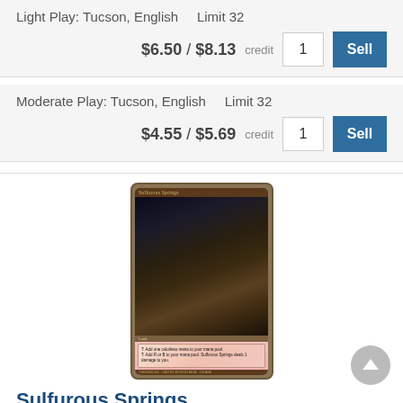Light Play: Tucson, English    Limit 32
$6.50 / $8.13 credit
Moderate Play: Tucson, English    Limit 32
$4.55 / $5.69 credit
[Figure (illustration): Sulfurous Springs Magic: The Gathering card showing dark rocky landscape with glowing springs, text box with mana abilities]
Sulfurous Springs
Light Play: Tucson, English    Limit 32